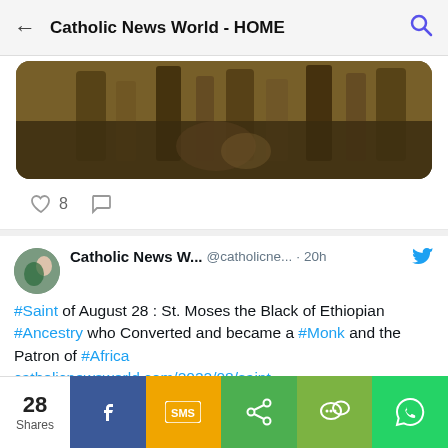Catholic News World - HOME
[Figure (photo): Partial view of a religious or nature photograph, cropped at top]
8 (likes)
Catholic News W... @catholicne... · 20h
#Saint of August 28 : St. Moses the Black of Ethiopian #Ancestry who Converted and became a #Monk and the Patron of #Africa catholicnewsworld.com/2022/08/saint-…
[Figure (photo): Icon painting of St. Moses the Black, a saint with dark skin and white beard, shown with a golden halo on a dark background]
28 Shares
Facebook share button
SMS share button
Share button
WeChat share button
WhatsApp share button